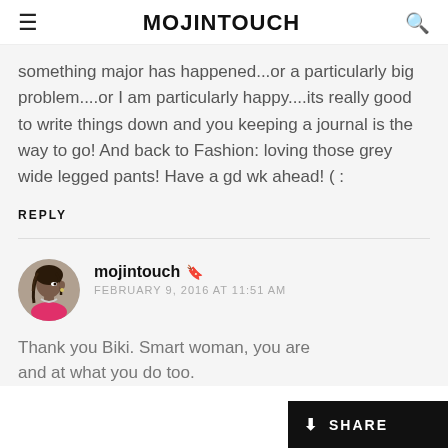MOJINTOUCH
something major has happened…or a particularly big problem….or I am particularly happy….its really good to write things down and you keeping a journal is the way to go! And back to Fashion: loving those grey wide legged pants! Have a gd wk ahead! ( :
REPLY
mojintouch
FEBRUARY 9, 2016 AT 11:51 AM
Thank you Biki. Smart woman, you are and at what you do too.
[Figure (photo): Profile photo of mojintouch, a woman with braids wearing a pink top]